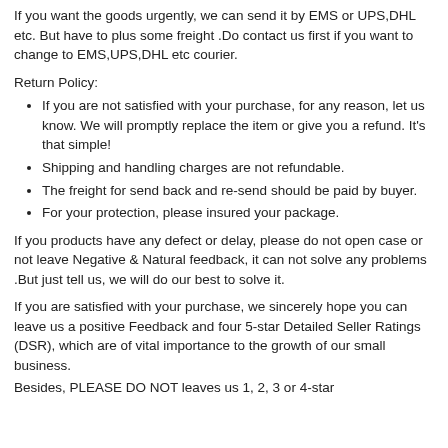If you want the goods urgently, we can send it by EMS or UPS,DHL etc. But have to plus some freight .Do contact us first if you want to change to EMS,UPS,DHL etc courier.
Return Policy:
If you are not satisfied with your purchase, for any reason, let us know. We will promptly replace the item or give you a refund. It's that simple!
Shipping and handling charges are not refundable.
The freight for send back and re-send should be paid by buyer.
For your protection, please insured your package.
If you products have any defect or delay, please do not open case or not leave Negative & Natural feedback, it can not solve any problems .But just tell us, we will do our best to solve it.
If you are satisfied with your purchase, we sincerely hope you can leave us a positive Feedback and four 5-star Detailed Seller Ratings (DSR), which are of vital importance to the growth of our small business.
Besides, PLEASE DO NOT leaves us 1, 2, 3 or 4-star